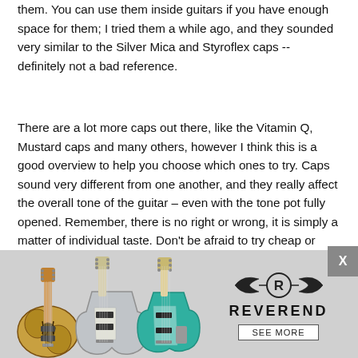them. You can use them inside guitars if you have enough space for them; I tried them a while ago, and they sounded very similar to the Silver Mica and Styroflex caps -- definitely not a bad reference.
There are a lot more caps out there, like the Vitamin Q, Mustard caps and many others, however I think this is a good overview to help you choose which ones to try. Caps sound very different from one another, and they really affect the overall tone of the guitar – even with the tone pot fully opened. Remember, there is no right or wrong, it is simply a matter of individual taste. Don't be afraid to try cheap or historically incorrect caps with "incorrect" values; I never use the factory stock values, as I find them to be way too much. I prefer values from 330p up to 0220pF, which makes the tone control much more useable. I also like to mix and match different values in one guitar, using a brighter cap for the bridge and a for the bridge and a darker one for the the...
[Figure (photo): Advertisement banner for Reverend Guitars showing three electric guitars (sunburst semi-hollow, silver/grey solid body, and teal solid body) on a grey background with the Reverend logo and 'SEE MORE' button. An X close button appears in the upper right of the ad.]